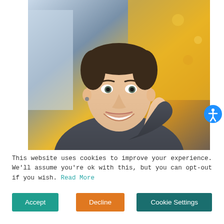[Figure (photo): A smiling young man in a grey sweater sitting at a restaurant, resting his chin on his hand, wearing a dark watch. Background shows warm yellow walls and restaurant decor.]
This website uses cookies to improve your experience. We'll assume you're ok with this, but you can opt-out if you wish. Read More
[Figure (infographic): Accessibility icon button — blue circle with white wheelchair/person accessibility symbol]
Accept
Decline
Cookie Settings